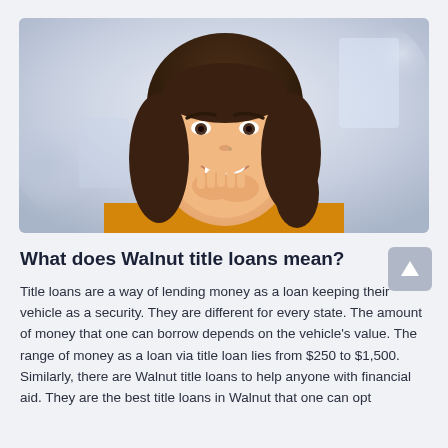[Figure (photo): Photo of a smiling young woman with dark wavy hair wearing a yellow/orange top, resting her chin on her hands, with a blurred light background.]
What does Walnut title loans mean?
Title loans are a way of lending money as a loan keeping their vehicle as a security. They are different for every state. The amount of money that one can borrow depends on the vehicle's value. The range of money as a loan via title loan lies from $250 to $1,500. Similarly, there are Walnut title loans to help anyone with financial aid. They are the best title loans in Walnut that one can opt